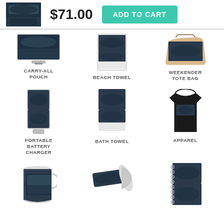[Figure (photo): Product thumbnail - painting of group at table]
$71.00
ADD TO CART
[Figure (photo): Carry-all pouch with painting]
CARRY-ALL POUCH
[Figure (photo): Beach towel with painting]
BEACH TOWEL
[Figure (photo): Weekender tote bag with painting]
WEEKENDER TOTE BAG
[Figure (photo): Portable battery charger with painting]
PORTABLE BATTERY CHARGER
[Figure (photo): Bath towel with painting]
BATH TOWEL
[Figure (photo): Black t-shirt apparel with painting]
APPAREL
[Figure (photo): Mug with painting]
[Figure (photo): Yoga mat with painting]
[Figure (photo): Spiral notebook with painting]